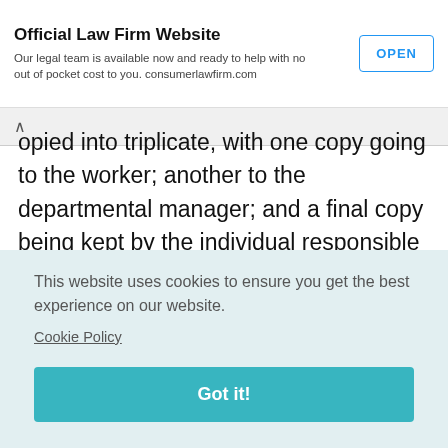Official Law Firm Website — Our legal team is available now and ready to help with no out of pocket cost to you. consumerlawfirm.com — OPEN
opied into triplicate, with one copy going to the worker; another to the departmental manager; and a final copy being kept by the individual responsible for the system.
[Figure (screenshot): Advertisement for Notice of Hearing legal services with close/skip icons]
This website uses cookies to ensure you get the best experience on our website. Cookie Policy
Got it!